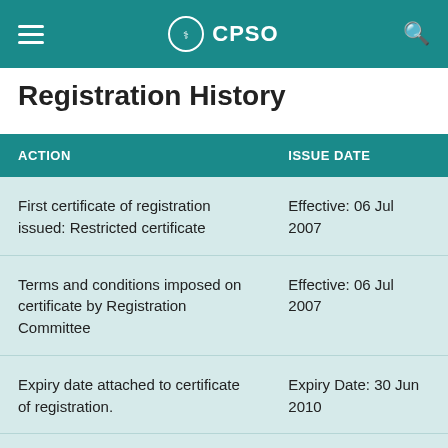CPSO
Registration History
| ACTION | ISSUE DATE |
| --- | --- |
| First certificate of registration issued: Restricted certificate | Effective: 06 Jul 2007 |
| Terms and conditions imposed on certificate by Registration Committee | Effective: 06 Jul 2007 |
| Expiry date attached to certificate of registration. | Expiry Date: 30 Jun 2010 |
| Expired: Terms and conditions imposed on certificate by | Effective: 10 |